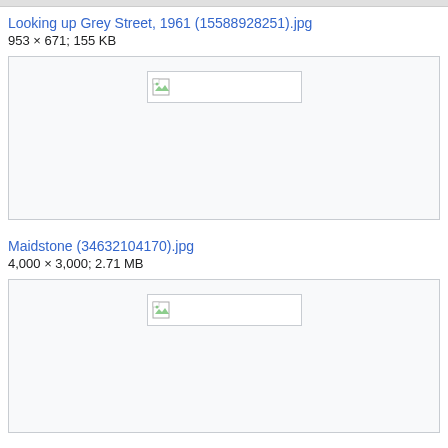Looking up Grey Street, 1961 (15588928251).jpg
953 × 671; 155 KB
[Figure (photo): Image placeholder box with broken image icon for Looking up Grey Street, 1961]
Maidstone (34632104170).jpg
4,000 × 3,000; 2.71 MB
[Figure (photo): Image placeholder box with broken image icon for Maidstone]